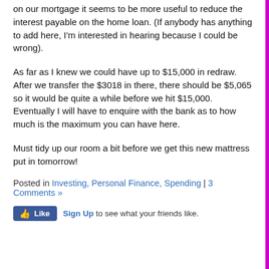on our mortgage it seems to be more useful to reduce the interest payable on the home loan. (If anybody has anything to add here, I'm interested in hearing because I could be wrong).
As far as I knew we could have up to $15,000 in redraw. After we transfer the $3018 in there, there should be $5,065 so it would be quite a while before we hit $15,000. Eventually I will have to enquire with the bank as to how much is the maximum you can have here.
Must tidy up our room a bit before we get this new mattress put in tomorrow!
Posted in Investing, Personal Finance, Spending | 3 Comments »
[Figure (other): Facebook Like button with 'Sign Up to see what your friends like.' text]